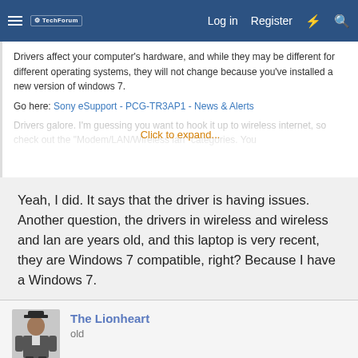Log in  Register
Drivers affect your computer's hardware, and while they may be different for different operating systems, they will not change because you've installed a new version of windows 7.
Go here: Sony eSupport - PCG-TR3AP1 - News & Alerts
Drivers galore. I'm guessing you want to hook it up to wireless internet, so check out the "Modem/LAN/Wireless lan" categories. You
Click to expand...
Yeah, I did. It says that the driver is having issues. Another question, the drivers in wireless and wireless and lan are years old, and this laptop is very recent, they are Windows 7 compatible, right? Because I have a Windows 7.
The Lionheart
old
Sep 29, 2011  #7